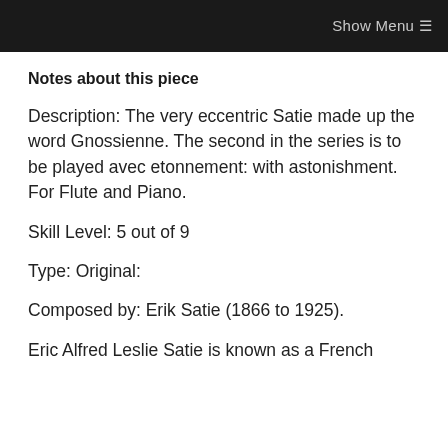Show Menu ☰
Notes about this piece
Description: The very eccentric Satie made up the word Gnossienne. The second in the series is to be played avec etonnement: with astonishment. For Flute and Piano.
Skill Level: 5 out of 9
Type: Original:
Composed by: Erik Satie (1866 to 1925).
Eric Alfred Leslie Satie is known as a French